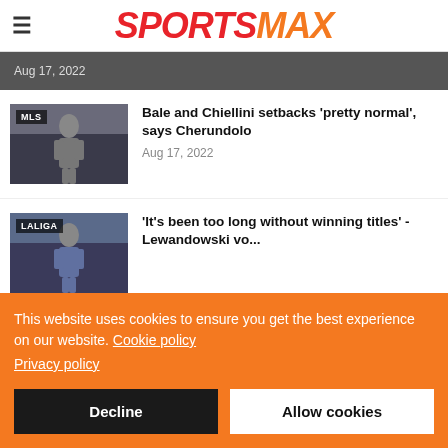SPORTSMAX
Aug 17, 2022
[Figure (photo): MLS player in black uniform gesturing on field]
Bale and Chiellini setbacks 'pretty normal', says Cherundolo
Aug 17, 2022
[Figure (photo): LaLiga player in blue and red uniform]
'It's been too long without winning titles' - Lewandowski vo...
This website uses cookies to ensure you get the best experience on our website. Cookie policy Privacy policy
Decline
Allow cookies